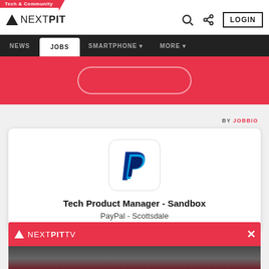Tech & Community
[Figure (logo): NextPit logo with triangle icon and text NEXTPIT]
LOGIN
NEWS  JOBS  SMARTPHONE +  MORE +
[Figure (illustration): Pink/red banner with rounded rectangle outline]
BY JOBBIO
[Figure (logo): PayPal logo - blue P on white rounded square background]
Tech Product Manager - Sandbox
PayPal - Scottsdale
[Figure (logo): NextPit TV banner with triangle logo and NEXTPITTV text in red background]